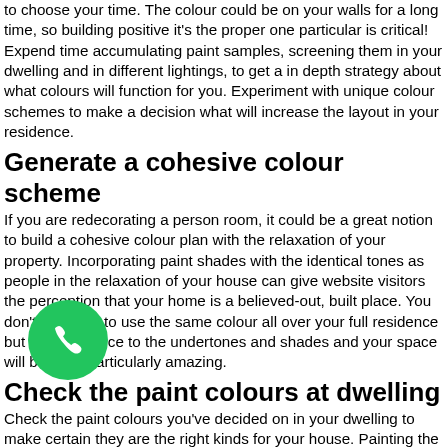to choose your time. The colour could be on your walls for a long time, so building positive it's the proper one particular is critical! Expend time accumulating paint samples, screening them in your dwelling and in different lightings, to get a in depth strategy about what colours will function for you. Experiment with unique colour schemes to make a decision what will increase the layout in your residence.
Generate a cohesive colour scheme
If you are redecorating a person room, it could be a great notion to build a cohesive colour plan with the relaxation of your property. Incorporating paint shades with the identical tones as people in the relaxation of your house can give website visitors the perception that your home is a believed-out, built place. You don't will need to use the same colour all over your full residence but pay out notice to the undertones and shades and your space will become particularly amazing.
Check the paint colours at dwelling
Check the paint colours you've decided on in your dwelling to make certain they are the right kinds for your house. Painting the colours on to a piece of poster board and sticking them on to the wall will assistance you visualise the colour in the space it will be in. It will also give you perception into how the colour looks in diverse lights – this means normal lights at various moments of day as perfectly as synthetic mild. It provides you the chance to assess colours with every other in the spa
Wh e picked out the colors for your dwelling space or your dining place, you'll need to have the industry experts to paint the walls for you. At Os Decor Painters and Decorators, our excellent providers